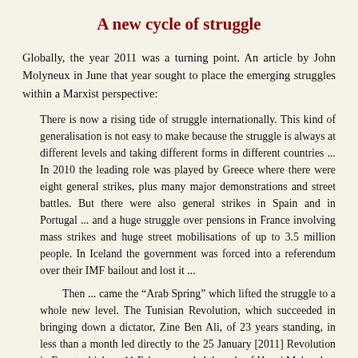A new cycle of struggle
Globally, the year 2011 was a turning point. An article by John Molyneux in June that year sought to place the emerging struggles within a Marxist perspective:
There is now a rising tide of struggle internationally. This kind of generalisation is not easy to make because the struggle is always at different levels and taking different forms in different countries ... In 2010 the leading role was played by Greece where there were eight general strikes, plus many major demonstrations and street battles. But there were also general strikes in Spain and in Portugal ... and a huge struggle over pensions in France involving mass strikes and huge street mobilisations of up to 3.5 million people. In Iceland the government was forced into a referendum over their IMF bailout and lost it ...
Then ... came the “Arab Spring” which lifted the struggle to a whole new level. The Tunisian Revolution, which succeeded in bringing down a dictator, Zine Ben Ali, of 23 years standing, in less than a month led directly to the 25 January [2011] Revolution in Egypt which on 11 February ended the rule of Hosni Mubarak